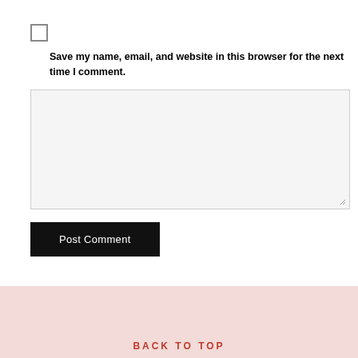☐ Save my name, email, and website in this browser for the next time I comment.
[Figure (other): Empty textarea input field with resize handle in bottom-right corner]
Post Comment
BACK TO TOP